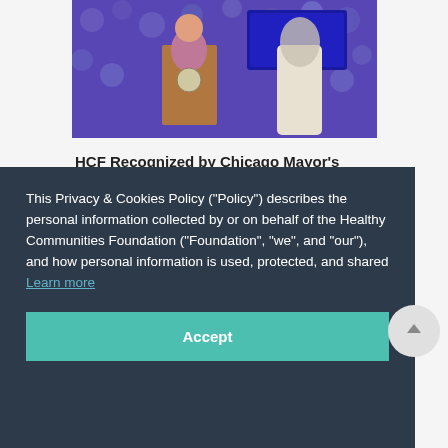[Figure (photo): A person standing at a podium with Chicago city seal, with a purple/violet background showing group photos of people]
HCF Recognized by Chicago Mayor's Office For Women's History Month
This Privacy & Cookies Policy (“Policy”) describes the personal information collected by or on behalf of the Healthy Communities Foundation (“Foundation”, “we”, and “our”), and how personal information is used, protected, and shared Learn more
Accept